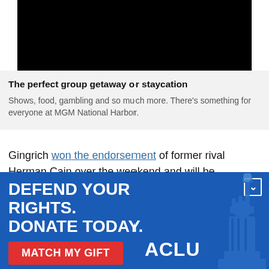[Figure (other): Black rectangle representing a video or image advertisement placeholder at the top of the page]
The perfect group getaway or staycation
Shows, food, gambling and so much more. There's something for everyone at MGM National Harbor.
Gingrich won the endorsement of former rival Herman Cain over the weekend and will be campaigning with him Monday, in hopes of consolidating grass-roots
[Figure (other): ACLU advertisement banner: 'DEFEND YOUR RIGHTS. DONATE TODAY.' with a red 'MATCH MY GIFT' button and ACLU logo, featuring Statue of Liberty illustration]